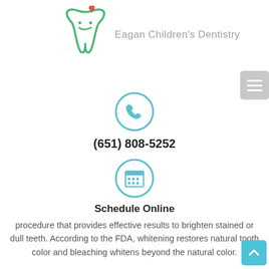[Figure (logo): Eagan Children's Dentistry logo with green tooth outline and red heart, beside gray text 'Eagan Children's Dentistry']
[Figure (illustration): Gray hamburger/menu icon button on gray rounded rectangle background, top right]
[Figure (illustration): Blue circle with phone handset icon inside]
(651) 808-5252
[Figure (illustration): Blue circle with calendar/grid icon inside]
Schedule Online
procedure that provides effective results to brighten stained or dull teeth. According to the FDA, whitening restores natural tooth color and bleaching whitens beyond the natural color.